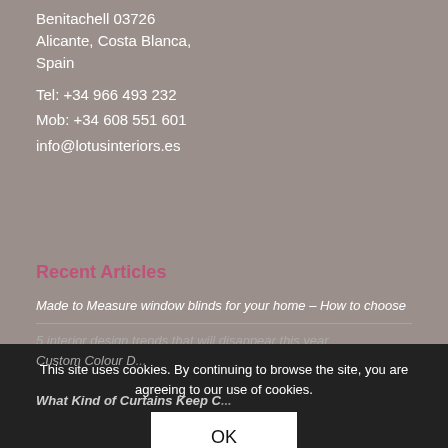Benitachell 03726
Alicante, Costa Blanca,
Spain
Tel: +34 966 493 232
Mob: +34 608 551 601
info@lotusinteriors.es
Recent Articles
Made to Measure window blinds for your home – How to choose
5 interior design trends that will disappear this year
Custom Colour D...
What Kind of Curtains Keep C...
This site uses cookies. By continuing to browse the site, you are agreeing to our use of cookies.
OK